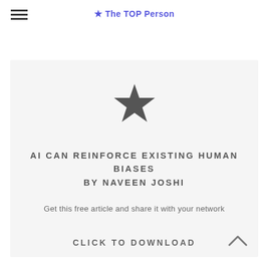★ The TOP Person
[Figure (illustration): A dark star icon centered within a light gray card]
AI CAN REINFORCE EXISTING HUMAN BIASES BY NAVEEN JOSHI
Get this free article and share it with your network
CLICK TO DOWNLOAD